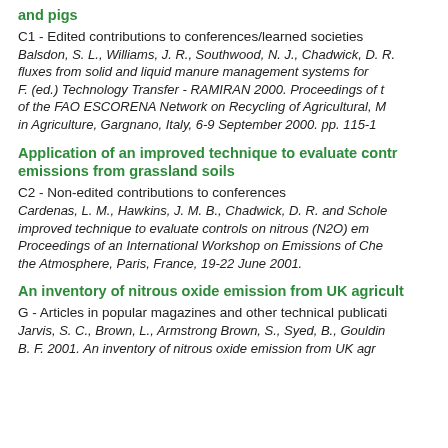and pigs
C1 - Edited contributions to conferences/learned societies
Balsdon, S. L., Williams, J. R., Southwood, N. J., Chadwick, D. R. fluxes from solid and liquid manure management systems for F. (ed.) Technology Transfer - RAMIRAN 2000. Proceedings of t of the FAO ESCORENA Network on Recycling of Agricultural, M in Agriculture, Gargnano, Italy, 6-9 September 2000. pp. 115-1
Application of an improved technique to evaluate contr emissions from grassland soils
C2 - Non-edited contributions to conferences
Cardenas, L. M., Hawkins, J. M. B., Chadwick, D. R. and Schole improved technique to evaluate controls on nitrous (N2O) em Proceedings of an International Workshop on Emissions of Che the Atmosphere, Paris, France, 19-22 June 2001.
An inventory of nitrous oxide emission from UK agricult
G - Articles in popular magazines and other technical publicati
Jarvis, S. C., Brown, L., Armstrong Brown, S., Syed, B., Gouldin B. F. 2001. An inventory of nitrous oxide emission from UK agr